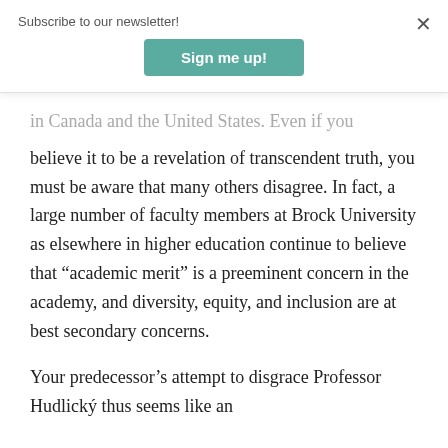Subscribe to our newsletter!
Sign me up!
in Canada and the United States. Even if you believe it to be a revelation of transcendent truth, you must be aware that many others disagree. In fact, a large number of faculty members at Brock University as elsewhere in higher education continue to believe that “academic merit” is a preeminent concern in the academy, and diversity, equity, and inclusion are at best secondary concerns.
Your predecessor’s attempt to disgrace Professor Hudlický thus seems like an